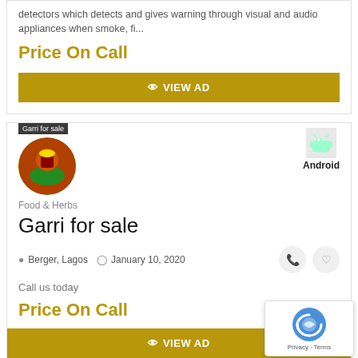detectors which detects and gives warning through visual and audio appliances when smoke, fi...
Price On Call
VIEW AD
Garri for sale
Android
Food & Herbs
Garri for sale
Berger, Lagos   January 10, 2020
Call us today
Price On Call
VIEW AD